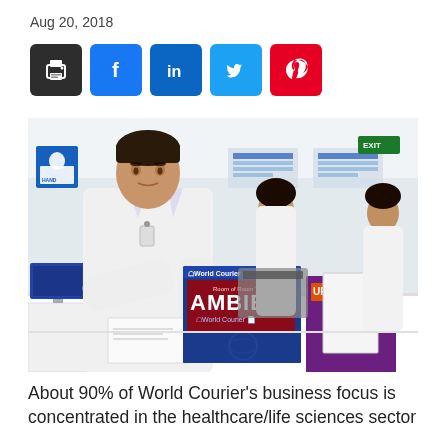Aug 20, 2018
[Figure (infographic): Row of five social sharing icon buttons: print (dark/black), Facebook (blue), LinkedIn (blue), Twitter (light blue), Pinterest (red)]
[Figure (photo): Photo of lab workers in white coats at a white counter. Main foreground person is a man writing on paper next to a World Courier blue AMBIENT shipping box. Background shows a woman and another man working, with lab equipment and charts on the wall.]
About 90% of World Courier's business focus is concentrated in the healthcare/life sciences sector